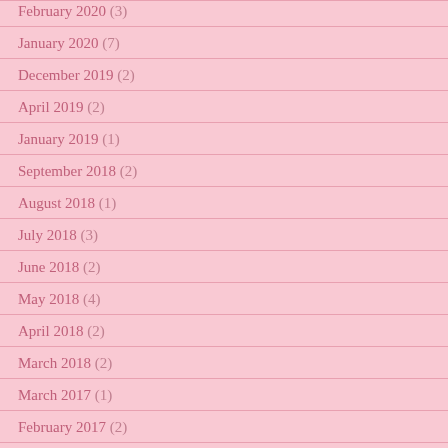February 2020 (3)
January 2020 (7)
December 2019 (2)
April 2019 (2)
January 2019 (1)
September 2018 (2)
August 2018 (1)
July 2018 (3)
June 2018 (2)
May 2018 (4)
April 2018 (2)
March 2018 (2)
March 2017 (1)
February 2017 (2)
January 2017 (4)
October 2016 (3)